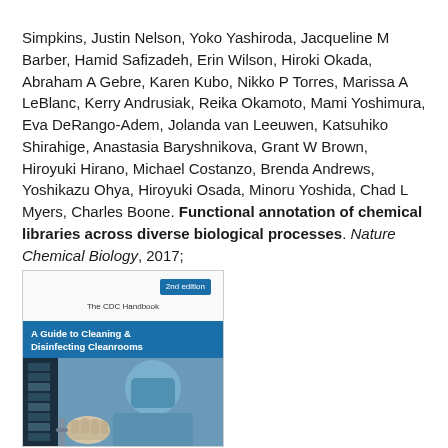Simpkins, Justin Nelson, Yoko Yashiroda, Jacqueline M Barber, Hamid Safizadeh, Erin Wilson, Hiroki Okada, Abraham A Gebre, Karen Kubo, Nikko P Torres, Marissa A LeBlanc, Kerry Andrusiak, Reika Okamoto, Mami Yoshimura, Eva DeRango-Adem, Jolanda van Leeuwen, Katsuhiko Shirahige, Anastasia Baryshnikova, Grant W Brown, Hiroyuki Hirano, Michael Costanzo, Brenda Andrews, Yoshikazu Ohya, Hiroyuki Osada, Minoru Yoshida, Chad L Myers, Charles Boone. Functional annotation of chemical libraries across diverse biological processes. Nature Chemical Biology, 2017; DOI: 10.1038/nchembio.2436
[Figure (illustration): Book cover thumbnail: 'The CDC Handbook - A Guide to Cleaning & Disinfecting Cleanrooms', 2nd edition, showing a person in cleanroom suit and gloves]